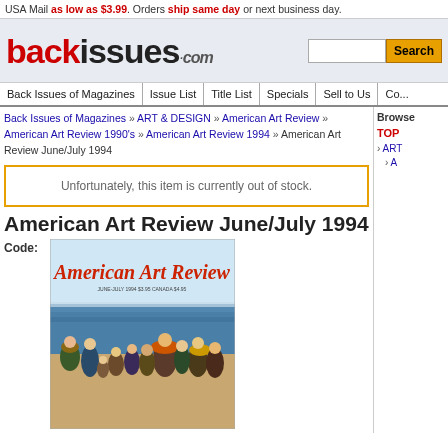USA Mail as low as $3.99. Orders ship same day or next business day.
[Figure (logo): backissues.com logo in red and black text]
Back Issues of Magazines | Issue List | Title List | Specials | Sell to Us | Co...
Back Issues of Magazines » ART & DESIGN » American Art Review » American Art Review 1990's » American Art Review 1994 » American Art Review June/July 1994
Unfortunately, this item is currently out of stock.
American Art Review June/July 1994
Code:
[Figure (photo): Cover of American Art Review June/July 1994 magazine showing people by the sea, with red italic title text 'American Art Review' and subtitle 'JUNE-JULY 1994  $3.95  CANADA $4.95']
Browse
TOP
ART
A